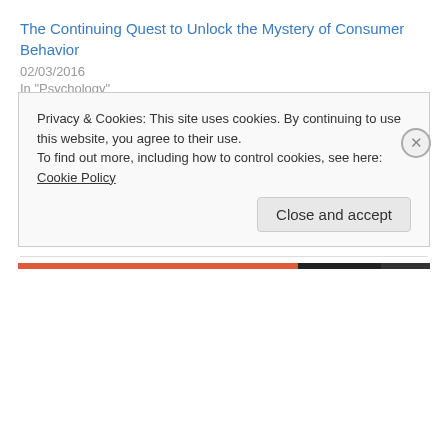The Continuing Quest to Unlock the Mystery of Consumer Behavior
02/03/2016
In "Psychology"
Why We Need to Understand the Impact of Advertising
31/08/2017
In "Psychology"
The Lures of Advertising – How Susceptible are You?
22/02/2016
In "Psychology"
Privacy & Cookies: This site uses cookies. By continuing to use this website, you agree to their use. To find out more, including how to control cookies, see here: Cookie Policy
Close and accept